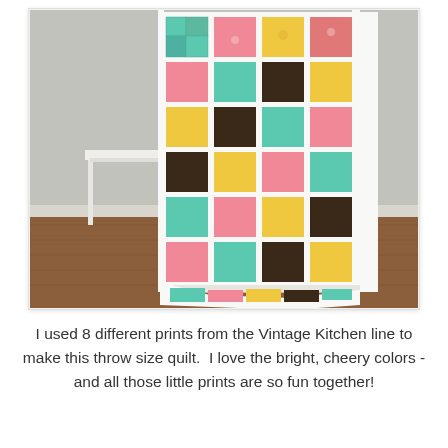[Figure (photo): A colorful patchwork quilt draped over a white chair against a gray wall and wood floor. The quilt features small squares in teal, pink, yellow, and dark floral prints separated by white sashing strips.]
I used 8 different prints from the Vintage Kitchen line to make this throw size quilt.  I love the bright, cheery colors - and all those little prints are so fun together!